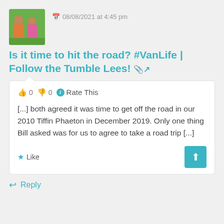[Figure (photo): Avatar photo of a couple, man in orange shirt and woman in pink, outdoors]
08/08/2021 at 4:45 pm
Is it time to hit the road? #VanLife | Follow the Tumble Lees! 🔗
👍 0 👎 0 ℹ Rate This
[...] both agreed it was time to get off the road in our 2010 Tiffin Phaeton in December 2019. Only one thing Bill asked was for us to agree to take a road trip [...]
★ Like
↩ Reply